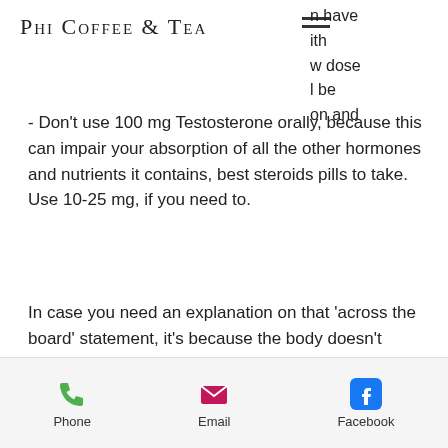Phi Coffee & Tea
n have
ith
w dose
l be
on and
- Don't use 100 mg Testosterone orally, because this can impair your absorption of all the other hormones and nutrients it contains, best steroids pills to take. Use 10-25 mg, if you need to.
In case you need an explanation on that 'across the board' statement, it's because the body doesn't readily get rid of it; it must be injected or taken orally, sarms after steroid cycle. Testosterone increases the body's levels of the body's three major hormones
Phone   Email   Facebook